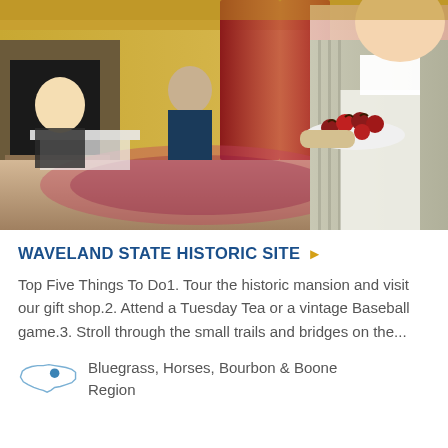[Figure (photo): Interior of a historic mansion. A woman in period costume (striped dress with apron) holds a plate of chocolate-dipped strawberries. Guests are seated at tables in an ornate room with floral carpet, fireplace, yellow wallpaper, and pink drapes.]
WAVELAND STATE HISTORIC SITE
Top Five Things To Do1. Tour the historic mansion and visit our gift shop.2. Attend a Tuesday Tea or a vintage Baseball game.3. Stroll through the small trails and bridges on the...
Bluegrass, Horses, Bourbon & Boone Region